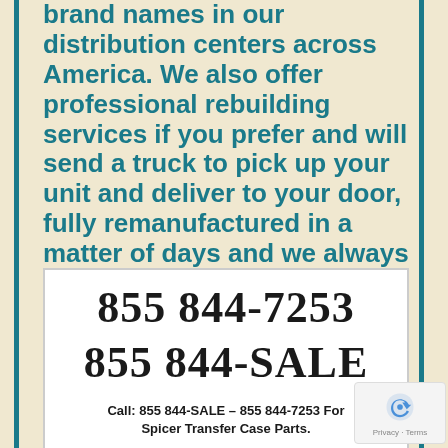brand names in our distribution centers across America. We also offer professional rebuilding services if you prefer and will send a truck to pick up your unit and deliver to your door, fully remanufactured in a matter of days and we always pay for the return truck freight.
855 844-7253
855 844-SALE
Call: 855 844-SALE – 855 844-7253 For Spicer Transfer Case Parts.